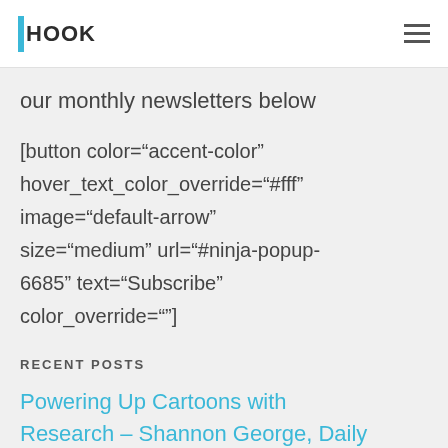HOOK
our monthly newsletters below
[button color="accent-color" hover_text_color_override="#fff" image="default-arrow" size="medium" url="#ninja-popup-6685" text="Subscribe" color_override=""]
RECENT POSTS
Powering Up Cartoons with Research – Shannon George, Daily